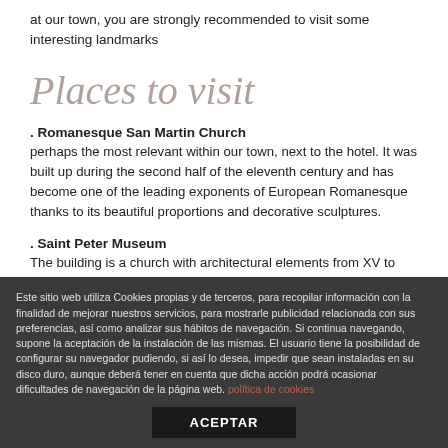at our town, you are strongly recommended to visit some interesting landmarks
Places to visit
. Romanesque San Martin Church
perhaps the most relevant within our town, next to the hotel. It was built up during the second half of the eleventh century and has become one of the leading exponents of European Romanesque thanks to its beautiful proportions and decorative sculptures.
. Saint Peter Museum
The building is a church with architectural elements from XV to XVII centuries, combining neoclassical and renaissance features. It contains
Este sitio web utiliza Cookies propias y de terceros, para recopilar información con la finalidad de mejorar nuestros servicios, para mostrarle publicidad relacionada con sus preferencias, así como analizar sus hábitos de navegación. Si continua navegando, supone la aceptación de la instalación de las mismas. El usuario tiene la posibilidad de configurar su navegador pudiendo, si así lo desea, impedir que sean instaladas en su disco duro, aunque deberá tener en cuenta que dicha acción podrá ocasionar dificultades de navegación de la página web. política de cookies
ACEPTAR